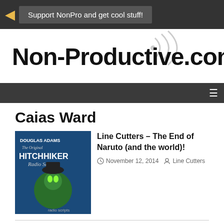Support NonPro and get cool stuff!
[Figure (logo): Non-Productive.com logo with radio signal icon]
Caias Ward
Line Cutters – The End of Naruto (and the world)!
November 12, 2014   Line Cutters
10 Things You Didn't Know About Caias Ward, creator of the "Riders: A Game